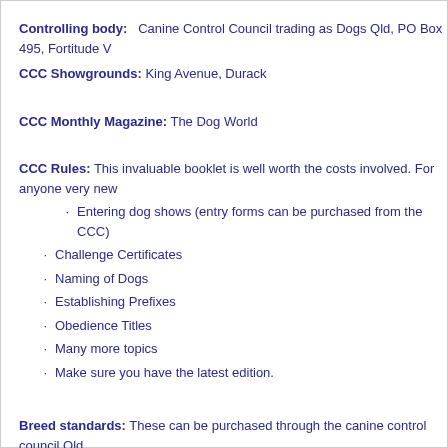Controlling body: Canine Control Council trading as Dogs Qld, PO Box 495, Fortitude V
CCC Showgrounds: King Avenue, Durack
CCC Monthly Magazine: The Dog World
CCC Rules: This invaluable booklet is well worth the costs involved. For anyone very new
Entering dog shows (entry forms can be purchased from the CCC)
Challenge Certificates
Naming of Dogs
Establishing Prefixes
Obedience Titles
Many more topics
Make sure you have the latest edition.
Breed standards: These can be purchased through the canine control council Qld. Shows: Our club conducts an Open Show in February and a Championship show in June
Dog Obedience: Many of our members are involved in the Obedience and Trialling world